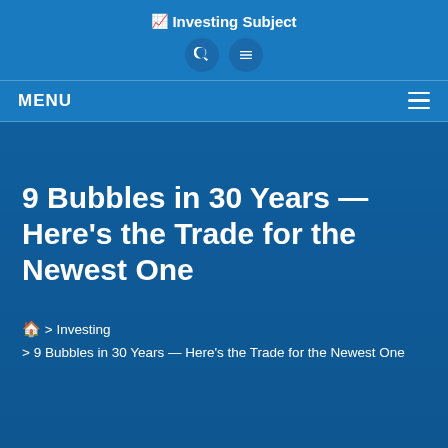Investing Subject
MENU
9 Bubbles in 30 Years — Here's the Trade for the Newest One
🏠 > Investing
> 9 Bubbles in 30 Years — Here's the Trade for the Newest One